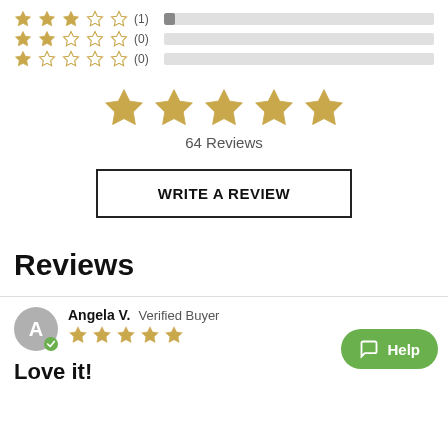[Figure (infographic): Rating breakdown rows: 3-star (1), 2-star (0), 1-star (0) with horizontal bar charts]
[Figure (infographic): 5 large gold stars indicating overall rating]
64 Reviews
WRITE A REVIEW
Reviews
Angela V.  Verified Buyer
[Figure (infographic): 5 gold stars for Angela V. review rating]
Love it!